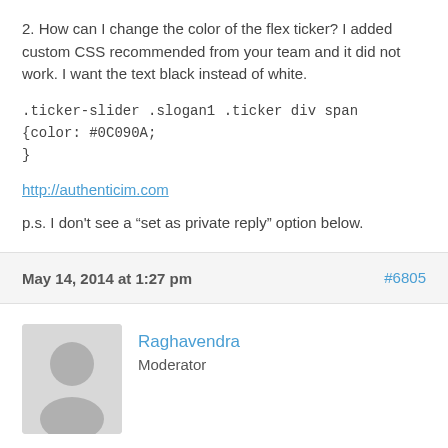2. How can I change the color of the flex ticker? I added custom CSS recommended from your team and it did not work. I want the text black instead of white.
.ticker-slider .slogan1 .ticker div span
{color: #0C090A;
}
http://authenticim.com
p.s. I don't see a “set as private reply” option below.
May 14, 2014 at 1:27 pm   #6805
Raghavendra
Moderator